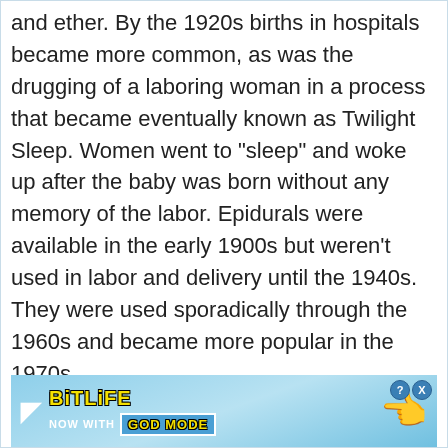and ether. By the 1920s births in hospitals became more common, as was the drugging of a laboring woman in a process that became eventually known as Twilight Sleep. Women went to "sleep" and woke up after the baby was born without any memory of the labor. Epidurals were available in the early 1900s but weren't used in labor and delivery until the 1940s. They were used sporadically through the 1960s and became more popular in the 1970s.
[Figure (screenshot): BitLife advertisement banner: 'NOW WITH GOD MODE' with hand pointing graphic on light blue background, close (X) and help (?) icons in top right.]